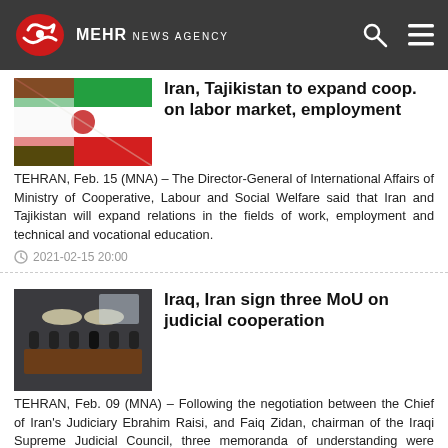MEHR NEWS AGENCY
Iran, Tajikistan to expand coop. on labor market, employment
TEHRAN, Feb. 15 (MNA) – The Director-General of International Affairs of Ministry of Cooperative, Labour and Social Welfare said that Iran and Tajikistan will expand relations in the fields of work, employment and technical and vocational education.
2021-02-15 20:00
[Figure (photo): Flags of Iran and Tajikistan]
Iraq, Iran sign three MoU on judicial cooperation
TEHRAN, Feb. 09 (MNA) – Following the negotiation between the Chief of Iran's Judiciary Ebrahim Raisi, and Faiq Zidan, chairman of the Iraqi Supreme Judicial Council, three memoranda of understanding were signed between the two countries.
2021-02-09 13:31
[Figure (photo): Meeting room with officials seated at a long table]
Iranian ministry of sports inks coop. MoU with Japan
TEHRAN, Dec. 22 (MNA) – In an online ceremony on Tuesday, Iran's Ministry of Sports signed a cooperation